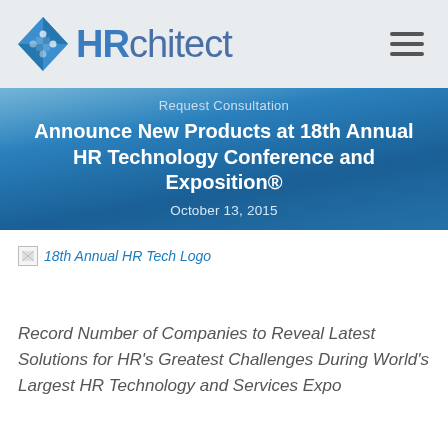HRchitect
Request Consultation
Announce New Products at 18th Annual HR Technology Conference and Exposition®
October 13, 2015
[Figure (illustration): 18th Annual HR Tech Logo — broken image placeholder with alt text]
Record Number of Companies to Reveal Latest Solutions for HR's Greatest Challenges During World's Largest HR Technology and Services Expo